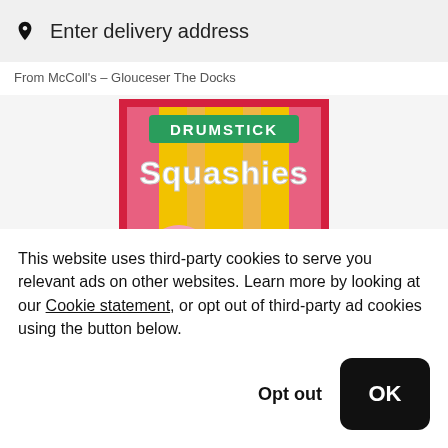Enter delivery address
From McColl's – Glouceser The Docks
[Figure (photo): Product image of Drumstick Squashies candy bag - pink and yellow packaging with sweets visible]
This website uses third-party cookies to serve you relevant ads on other websites. Learn more by looking at our Cookie statement, or opt out of third-party ad cookies using the button below.
Opt out
OK